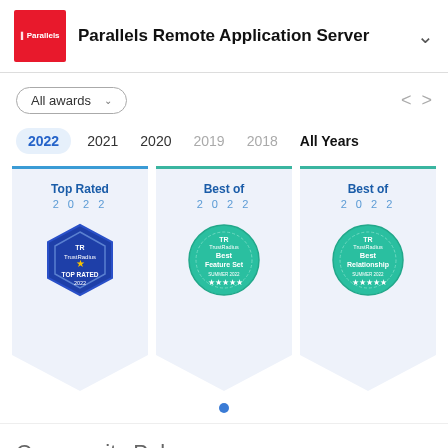Parallels Remote Application Server
All awards
2022  2021  2020  2019  2018  All Years
[Figure (infographic): Three TrustRadius award badges for 2022: Top Rated 2022, Best of 2022 Feature Set, Best of 2022 Best Relationship. Each displayed as a pennant/banner card with a top blue border and pointed bottom. The Top Rated badge shows a hexagonal blue TrustRadius badge. The other two show teal circular TrustRadius badges.]
Community Pulse